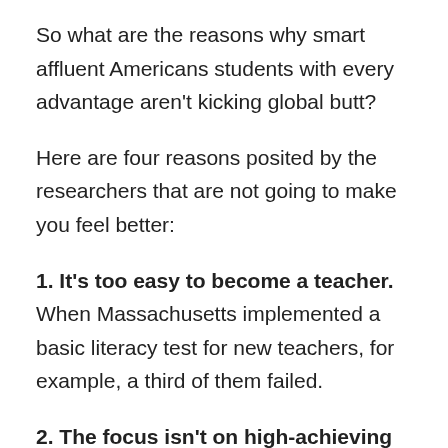So what are the reasons why smart affluent Americans students with every advantage aren't kicking global butt?
Here are four reasons posited by the researchers that are not going to make you feel better:
1. It's too easy to become a teacher. When Massachusetts implemented a basic literacy test for new teachers, for example, a third of them failed.
2. The focus isn't on high-achieving students. There is less focus on these kids because it's thought that they can cope well without extra resources.